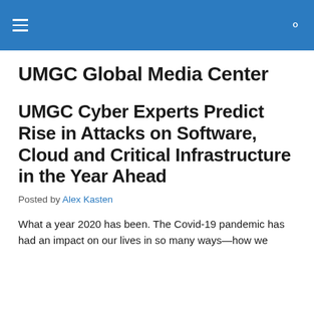UMGC Global Media Center
UMGC Global Media Center
UMGC Cyber Experts Predict Rise in Attacks on Software, Cloud and Critical Infrastructure in the Year Ahead
Posted by Alex Kasten
What a year 2020 has been. The Covid-19 pandemic has had an impact on our lives in so many ways—how we